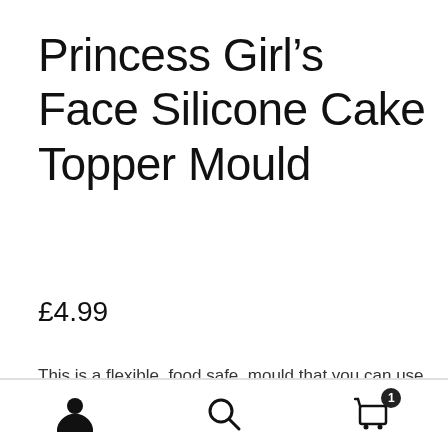Princess Girl’s Face Silicone Cake Topper Mould
£4.99
This is a flexible, food safe, mould that you can use to mould a Princess or girl’s face to put on top of a cake or – if you choose to use chocolate – as an individual gift for the
[Figure (other): Bottom navigation bar with person/account icon, search icon, and shopping cart icon with badge showing 1 item]